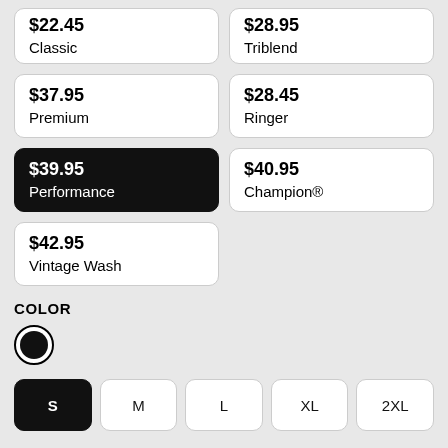$22.45 Classic
$28.95 Triblend
$37.95 Premium
$28.45 Ringer
$39.95 Performance (selected)
$40.95 Champion®
$42.95 Vintage Wash
COLOR
[Figure (illustration): Black color swatch circle with border]
Sizes: S (selected), M, L, XL, 2XL